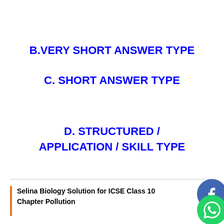B.VERY SHORT ANSWER TYPE
C. SHORT ANSWER TYPE
D. STRUCTURED / APPLICATION / SKILL TYPE
Selina Biology Solution for ICSE Class 10 Chapter Pollution